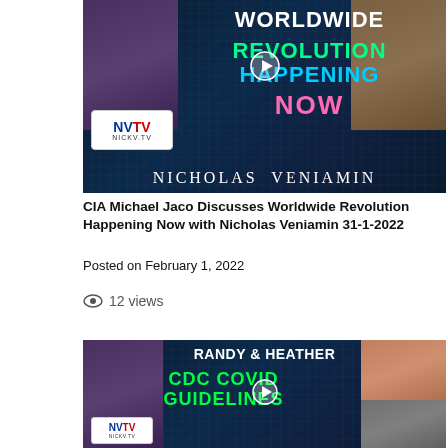[Figure (screenshot): Video thumbnail for 'CIA Michael Jaco Discusses Worldwide Revolution Happening Now with Nicholas Veniamin 31-1-2022'. Shows two men's faces, NVTV logo, and text: WORLDWIDE REVOLUTION HAPPENING NOW, NICHOLAS VENIAMIN on a dark blue tech background.]
CIA Michael Jaco Discusses Worldwide Revolution Happening Now with Nicholas Veniamin 31-1-2022
Posted on February 1, 2022
12 views
[Figure (screenshot): Video thumbnail for a video about Randy & Heather discussing CDC COVID Guidelines. Shows a man on the left, a woman and man on the right, NVTV logo, and text: RANDY & HEATHER, CDC COVID GUIDELINES on a dark blue tech background.]